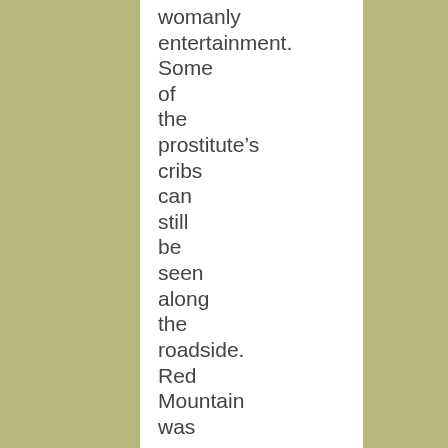womanly entertainment. Some of the prostitute’s cribs can still be seen along the roadside. Red Mountain was so famous (or perhaps infamous)